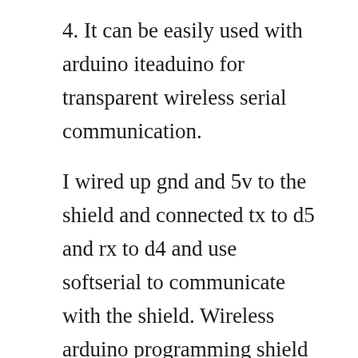4. It can be easily used with arduino iteaduino for transparent wireless serial communication.
I wired up gnd and 5v to the shield and connected tx to d5 and rx to d4 and use softserial to communicate with the shield. Wireless arduino programming shield program your arduino. This project uses the hc05 bluetooth module for communication, this is cheap and easy to find on ebay. Control a neopixel band with an hc05 bluetooth module. The bluetooth module used is wrl00582 bluesmirf from sparkfun electronics